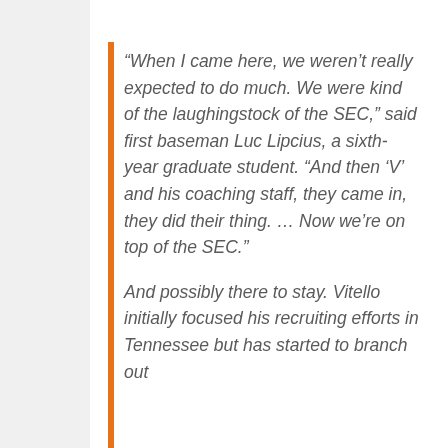“When I came here, we weren’t really expected to do much. We were kind of the laughingstock of the SEC,” said first baseman Luc Lipcius, a sixth-year graduate student. “And then ‘V’ and his coaching staff, they came in, they did their thing. … Now we’re on top of the SEC.”
And possibly there to stay. Vitello initially focused his recruiting efforts in Tennessee but has started to branch out